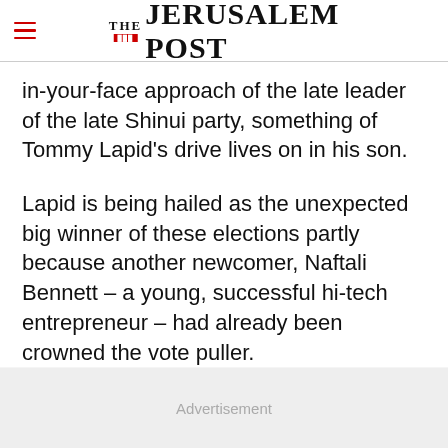THE JERUSALEM POST
in-your-face approach of the late leader of the late Shinui party, something of Tommy Lapid’s drive lives on in his son.
Lapid is being hailed as the unexpected big winner of these elections partly because another newcomer, Naftali Bennett – a young, successful hi-tech entrepreneur – had already been crowned the vote puller.
Advertisement